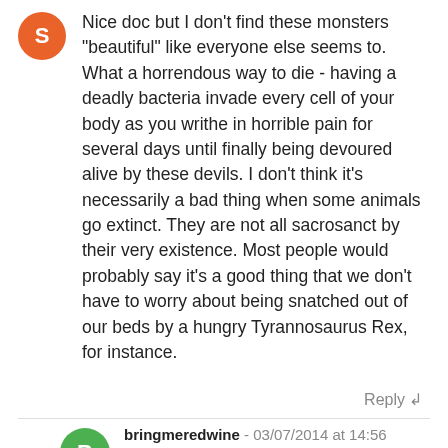Nice doc but I don't find these monsters "beautiful" like everyone else seems to. What a horrendous way to die - having a deadly bacteria invade every cell of your body as you writhe in horrible pain for several days until finally being devoured alive by these devils. I don't think it's necessarily a bad thing when some animals go extinct. They are not all sacrosanct by their very existence. Most people would probably say it's a good thing that we don't have to worry about being snatched out of our beds by a hungry Tyrannosaurus Rex, for instance.
Reply ↲
bringmeredwine - 03/07/2014 at 14:56
I think the komodos are ghastly creatures too. I'd have a heart attack if I was plunked on that island.